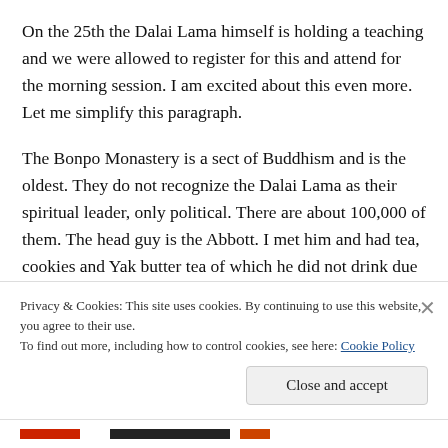On the 25th the Dalai Lama himself is holding a teaching and we were allowed to register for this and attend for the morning session. I am excited about this even more. Let me simplify this paragraph.
The Bonpo Monastery is a sect of Buddhism and is the oldest. They do not recognize the Dalai Lama as their spiritual leader, only political. There are about 100,000 of them. The head guy is the Abbott. I met him and had tea, cookies and Yak butter tea of which he did not drink due to his high blood pressure.
Privacy & Cookies: This site uses cookies. By continuing to use this website, you agree to their use.
To find out more, including how to control cookies, see here: Cookie Policy
Close and accept